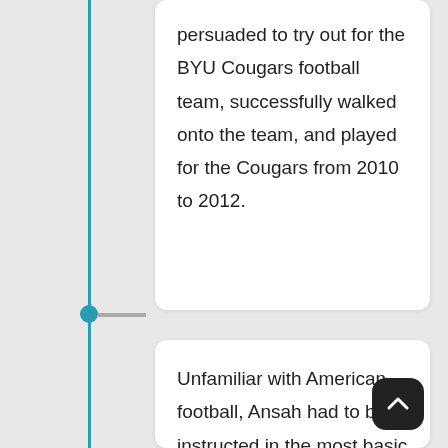persuaded to try out for the BYU Cougars football team, successfully walked onto the team, and played for the Cougars from 2010 to 2012.
Unfamiliar with American football, Ansah had to be instructed in the most basic rules and techniques, even needing help getting on his pads for the first time. Midway through the 2010 season Ansah made his first collegiate appearance in the Cougars' game versus Wyoming where he recorded his first tackle. During the 2010 season he saw action in six games on special teams and the defensive line, recording three tackles and a pass breakup